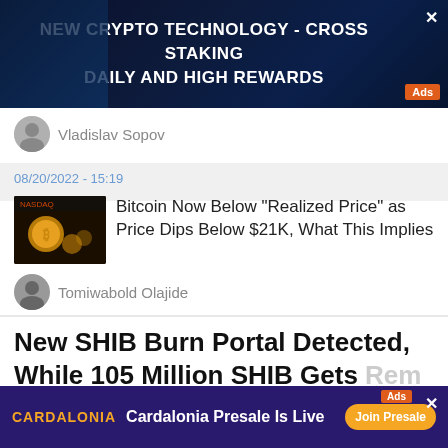[Figure (other): Dark blue crypto technology advertisement banner with text: NEW CRYPTO TECHNOLOGY - CROSS STAKING DAILY AND HIGH REWARDS, with Ads badge and close button]
Vladislav Sopov
08/20/2022 - 15:19
[Figure (photo): Thumbnail image of Bitcoin coins with dark background, NASDAQ-style display visible]
Bitcoin Now Below "Realized Price" as Price Dips Below $21K, What This Implies
Tomiwabold Olajide
New SHIB Burn Portal Detected, While 105 Million SHIB Gets Rem...
[Figure (other): Cardalonia advertisement banner with purple background: Cardalonia Presale Is Live, Join Presale button, Ads badge, close button]